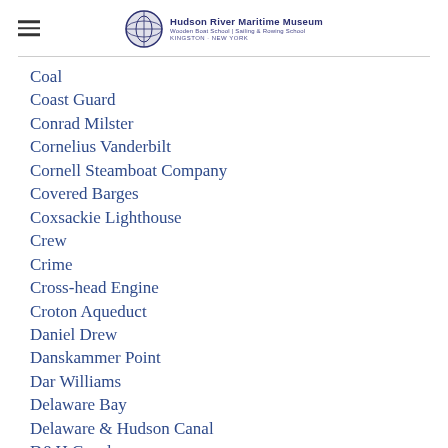Hudson River Maritime Museum | Wooden Boat School | Sailing & Rowing School | KINGSTON · NEW YORK
Coal
Coast Guard
Conrad Milster
Cornelius Vanderbilt
Cornell Steamboat Company
Covered Barges
Coxsackie Lighthouse
Crew
Crime
Cross-head Engine
Croton Aqueduct
Daniel Drew
Danskammer Point
Dar Williams
Delaware Bay
Delaware & Hudson Canal
D&H Canal